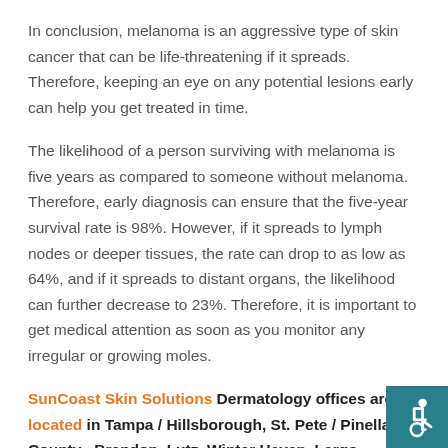In conclusion, melanoma is an aggressive type of skin cancer that can be life-threatening if it spreads. Therefore, keeping an eye on any potential lesions early can help you get treated in time.
The likelihood of a person surviving with melanoma is five years as compared to someone without melanoma. Therefore, early diagnosis can ensure that the five-year survival rate is 98%. However, if it spreads to lymph nodes or deeper tissues, the rate can drop to as low as 64%, and if it spreads to distant organs, the likelihood can further decrease to 23%. Therefore, it is important to get medical attention as soon as you monitor any irregular or growing moles.
SunCoast Skin Solutions Dermatology offices are located in Tampa / Hillsborough, St. Pete / Pinellas County , Brandon, Lutz, Winter Haven, Largo, Riverview, Brooksville, Ocala, and Daytona
[Figure (illustration): Wheelchair accessibility icon — white figure in wheelchair on teal/dark cyan background square, bottom-right corner]